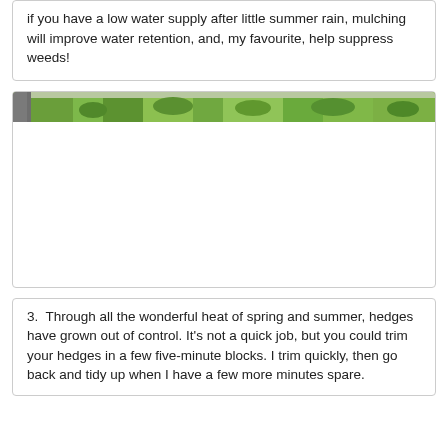if you have a low water supply after little summer rain, mulching will improve water retention, and, my favourite, help suppress weeds!
[Figure (photo): A narrow horizontal strip photo showing green hedge foliage with some grey stone or gravel visible on the left side.]
3. Through all the wonderful heat of spring and summer, hedges have grown out of control. It's not a quick job, but you could trim your hedges in a few five-minute blocks. I trim quickly, then go back and tidy up when I have a few more minutes spare.